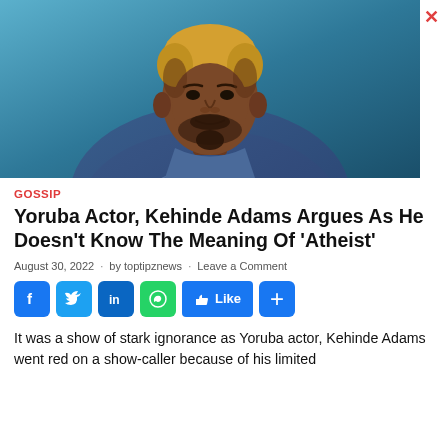[Figure (photo): Portrait photo of Yoruba actor Kehinde Adams, a young man with blonde-dyed hair and a beard, wearing a blue and white paisley patterned shirt, against a teal/blue background.]
GOSSIP
Yoruba Actor, Kehinde Adams Argues As He Doesn't Know The Meaning Of 'Atheist'
August 30, 2022 · by toptipznews · Leave a Comment
It was a show of stark ignorance as Yoruba actor, Kehinde Adams went red on a show-caller because of his limited